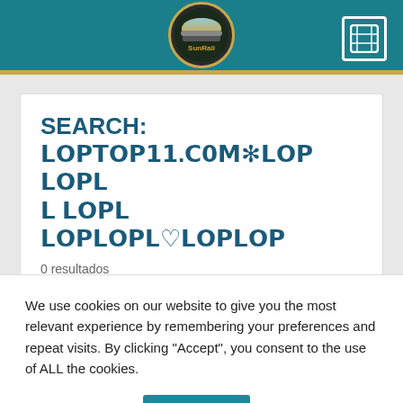[Figure (logo): SunRail logo in circular badge with teal header background and gold bar, plus a map icon on the right]
SEARCH: 𝗟𝗢𝗣𝗧𝗢𝗣𝟭𝟭.𝗖𝟬𝗠✻𝗟𝗢𝗣 𝗟𝗢𝗣𝗟 𝗟𝗢𝗣𝗟𝗢𝗣𝗟𝗢𝗣♡𝗟𝗢𝗣𝗟𝗢𝗣
0 resultados
Nueva búsqueda
We use cookies on our website to give you the most relevant experience by remembering your preferences and repeat visits. By clicking “Accept”, you consent to the use of ALL the cookies.
Cookie settings
ACCEPT